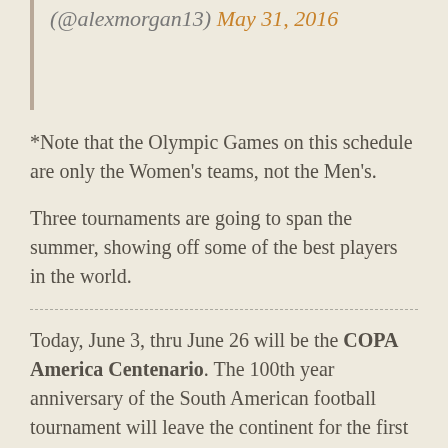(@alexmorgan13) May 31, 2016
*Note that the Olympic Games on this schedule are only the Women’s teams, not the Men’s.
Three tournaments are going to span the summer, showing off some of the best players in the world.
Today, June 3, thru June 26 will be the COPA America Centenario. The 100th year anniversary of the South American football tournament will leave the continent for the first time,